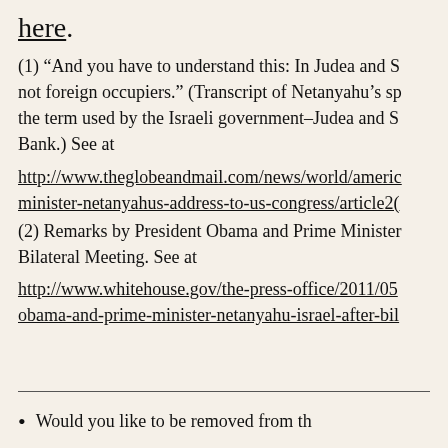here.
(1) “And you have to understand this: In Judea and S not foreign occupiers.” (Transcript of Netanyahu’s sp the term used by the Israeli government–Judea and S Bank.) See at http://www.theglobeandmail.com/news/world/americ minister-netanyahus-address-to-us-congress/article2(
(2) Remarks by President Obama and Prime Minister Bilateral Meeting. See at http://www.whitehouse.gov/the-press-office/2011/05 obama-and-prime-minister-netanyahu-israel-after-bil
Would you like to be removed from th